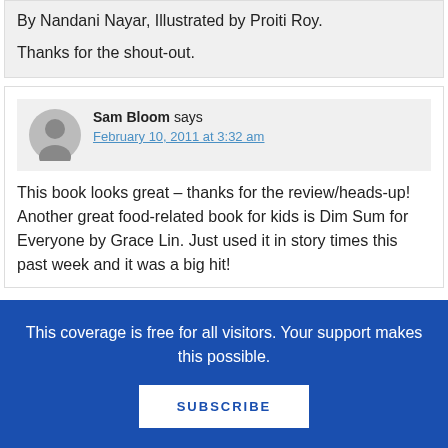By Nandani Nayar, Illustrated by Proiti Roy. Thanks for the shout-out.
Sam Bloom says
February 10, 2011 at 3:32 am
This book looks great – thanks for the review/heads-up! Another great food-related book for kids is Dim Sum for Everyone by Grace Lin. Just used it in story times this past week and it was a big hit!
This coverage is free for all visitors. Your support makes this possible.
SUBSCRIBE